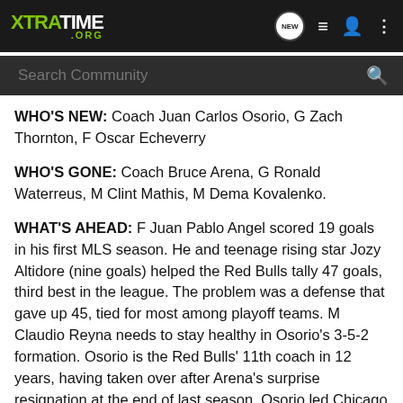XTRATIME .ORG
WHO'S NEW: Coach Juan Carlos Osorio, G Zach Thornton, F Oscar Echeverry
WHO'S GONE: Coach Bruce Arena, G Ronald Waterreus, M Clint Mathis, M Dema Kovalenko.
WHAT'S AHEAD: F Juan Pablo Angel scored 19 goals in his first MLS season. He and teenage rising star Jozy Altidore (nine goals) helped the Red Bulls tally 47 goals, third best in the league. The problem was a defense that gave up 45, tied for most among playoff teams. M Claudio Reyna needs to stay healthy in Osorio's 3-5-2 formation. Osorio is the Red Bulls' 11th coach in 12 years, having taken over after Arena's surprise resignation at the end of last season. Osorio led Chicago to a 6-3-7 record and a playoff berth after replacing Dave Sarachan last season.